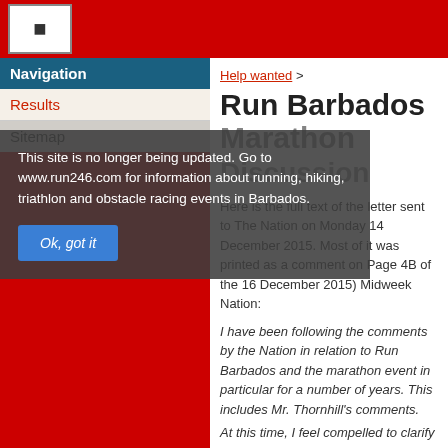[Figure (logo): Square logo icon with an arrow or chart symbol]
Navigation
Results
Sitemap
This site is no longer being updated. Go to www.run246.com for information about running, hiking, triathlon and obstacle racing events in Barbados.
Ok, got it
Help wanted >
Run Barbados Marathon
Discussion
Here is the full text of the letter sent to The Nation on Monday 14 December 2015. Most of it was printed as a comment on Page 4B of the 16 December 2015) Midweek Nation:
I have been following the comments by the Nation in relation to Run Barbados and the marathon event in particular for a number of years. This includes Mr. Thornhill's comments.
At this time, I feel compelled to clarify a few things that may not be apparent to anyone who has